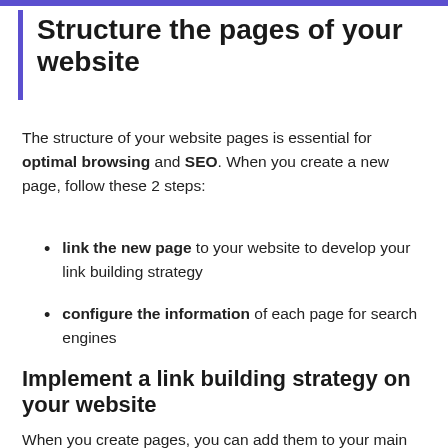Structure the pages of your website
The structure of your website pages is essential for optimal browsing and SEO. When you create a new page, follow these 2 steps:
link the new page to your website to develop your link building strategy
configure the information of each page for search engines
Implement a link building strategy on your website
When you create pages, you can add them to your main